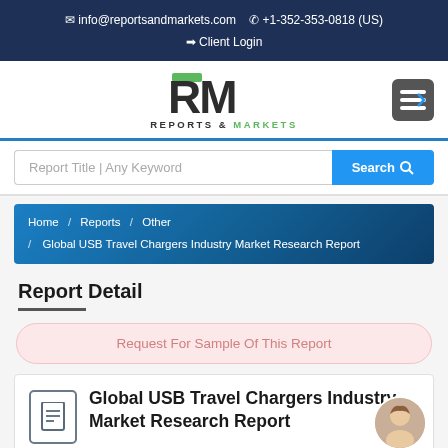✉ info@reportsandmarkets.com  ✆ +1-352-353-0818 (US)
➡ Client Login
[Figure (logo): Reports & Markets logo with stylized RM in dark grey and green accent]
Report Title | Any Keyword  Search
Home / Reports / Other / Global USB Travel Chargers Industry Market Research Report
Report Detail
Request For Sample Of This Report
Global USB Travel Chargers Industry Market Research Report